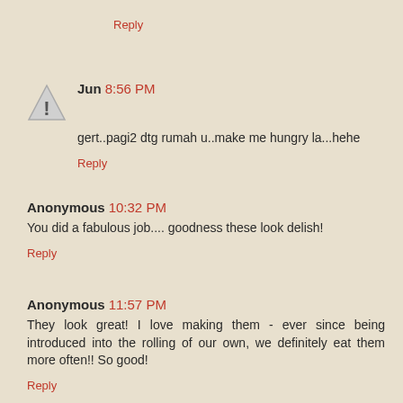Reply
Jun 8:56 PM
gert..pagi2 dtg rumah u..make me hungry la...hehe
Reply
Anonymous 10:32 PM
You did a fabulous job.... goodness these look delish!
Reply
Anonymous 11:57 PM
They look great! I love making them - ever since being introduced into the rolling of our own, we definitely eat them more often!! So good!
Reply